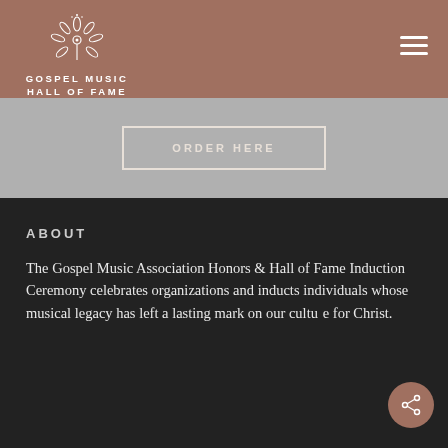[Figure (logo): Gospel Music Hall of Fame logo — floral/leaf emblem above the text 'GOSPEL MUSIC HALL OF FAME' in white on a rose-brown header bar]
ORDER HERE
ABOUT
The Gospel Music Association Honors & Hall of Fame Induction Ceremony celebrates organizations and inducts individuals whose musical legacy has left a lasting mark on our culture for Christ.